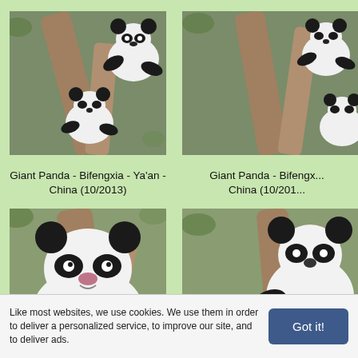[Figure (photo): Giant Panda climbing a tree at Bifengxia, Ya'an, China, October 2013. Two pandas visible on branches.]
Giant Panda - Bifengxia - Ya'an - China (10/2013)
[Figure (photo): Giant Panda at Bifengxia, Ya'an, China, October 2013. Partially cropped on right side.]
Giant Panda - Bifengxia - Ya'an - China (10/2013)
[Figure (photo): Giant Panda close-up on tree branch at Bifengxia, Ya'an, China, October 2013.]
Giant Panda - Bifengxia - Ya'an - China (10/2013)
[Figure (photo): Giant Panda clinging to tree at Bifengxia, Ya'an, China. Partially cropped on right side.]
Like most websites, we use cookies. We use them in order to deliver a personalized service, to improve our site, and to deliver ads.
Got it!